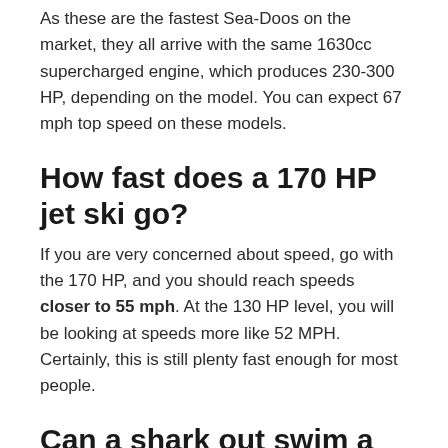As these are the fastest Sea-Doos on the market, they all arrive with the same 1630cc supercharged engine, which produces 230-300 HP, depending on the model. You can expect 67 mph top speed on these models.
How fast does a 170 HP jet ski go?
If you are very concerned about speed, go with the 170 HP, and you should reach speeds closer to 55 mph. At the 130 HP level, you will be looking at speeds more like 52 MPH. Certainly, this is still plenty fast enough for most people.
Can a shark out swim a jet ski?